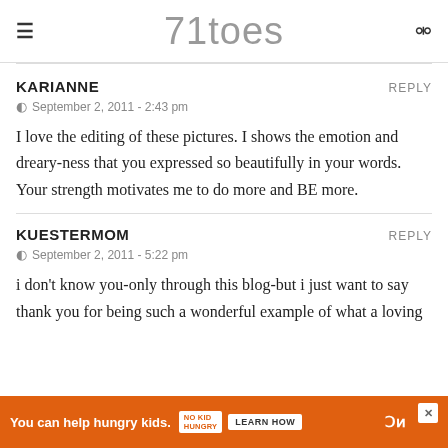71toes
KARIANNE
September 2, 2011 - 2:43 pm
I love the editing of these pictures. I shows the emotion and dreary-ness that you expressed so beautifully in your words. Your strength motivates me to do more and BE more.
KUESTERMOM
September 2, 2011 - 5:22 pm
i don't know you-only through this blog-but i just want to say thank you for being such a wonderful example of what a loving m... and
[Figure (other): Advertisement banner: orange background, 'You can help hungry kids.' text, No Kid Hungry logo, Learn How button, close X button]